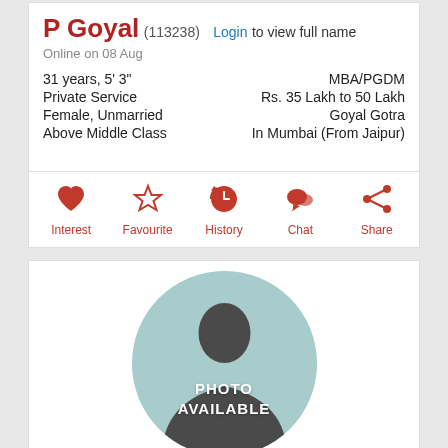P Goyal (113238) Login to view full name
Online on 08 Aug
31 years, 5' 3"
Private Service
Female, Unmarried
Above Middle Class
MBA/PGDM
Rs. 35 Lakh to 50 Lakh
Goyal Gotra
In Mumbai (From Jaipur)
[Figure (infographic): Action buttons row: Interest (heart icon), Favourite (star icon), History (clock icon), Chat (speech bubble icon), Share (share icon) — all in dark red/crimson color]
[Figure (photo): Circular avatar placeholder with teal/mint background, silhouette of a person, and text overlay reading PHOTO AVAILABLE in white bold letters]